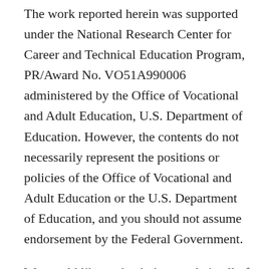The work reported herein was supported under the National Research Center for Career and Technical Education Program, PR/Award No. VO51A990006 administered by the Office of Vocational and Adult Education, U.S. Department of Education. However, the contents do not necessarily represent the positions or policies of the Office of Vocational and Adult Education or the U.S. Department of Education, and you should not assume endorsement by the Federal Government.
We would like to thank the people in all of the participating schools for allowing us to learn from them over the years of the study. We also wish to extend our appreciation to the three anonymous reviewers for their careful attention to the work reported here, to Elizabeth Kemper for her